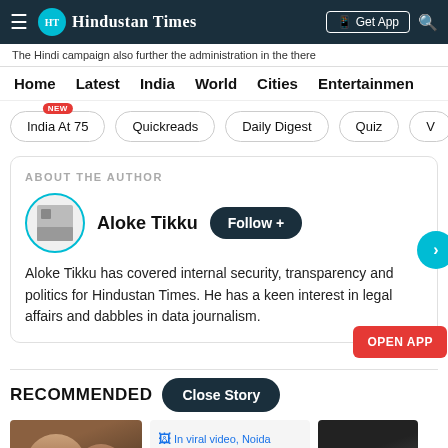Hindustan Times
The Hindi campaign also further the administration in the there
Home  Latest  India  World  Cities  Entertainment
India At 75 NEW
Quickreads
Daily Digest
Quiz
ABOUT THE AUTHOR
Aloke Tikku
Aloke Tikku has covered internal security, transparency and politics for Hindustan Times. He has a keen interest in legal affairs and dabbles in data journalism.
RECOMMENDED
In viral video, Noida woman seen abusing, manhandling security guards; arrested